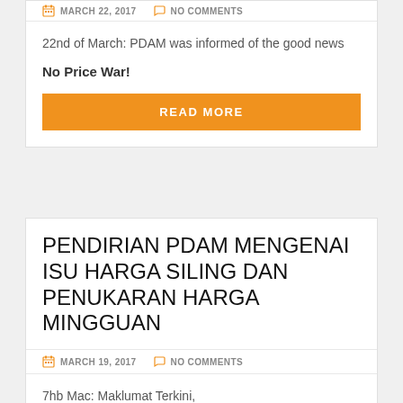MARCH 22, 2017   NO COMMENTS
22nd of March: PDAM was informed of the good news
No Price War!
READ MORE
PENDIRIAN PDAM MENGENAI ISU HARGA SILING DAN PENUKARAN HARGA MINGGUAN
MARCH 19, 2017   NO COMMENTS
7hb Mac: Maklumat Terkini,
YB Menteri KPDNKK telah memberi jaminan bahawa sebarang perang harga hanya akan